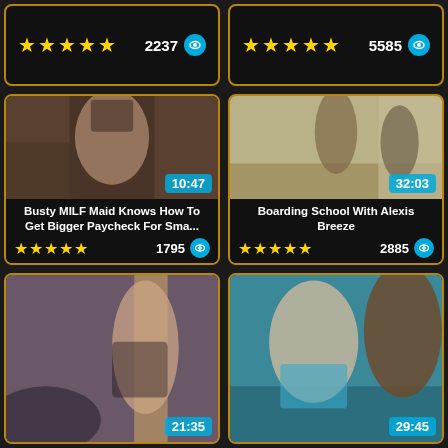[Figure (screenshot): Top-left rating bar with 5 gold stars and view count 2237 with eye icon]
[Figure (screenshot): Top-right rating bar with 5 gold stars and view count 5585 with eye icon]
[Figure (photo): Video thumbnail for 'Busty MILF Maid Knows How To Get Bigger Paycheck For Sma...' duration 10:47, rating 5 stars, 1795 views]
[Figure (photo): Video thumbnail for 'Boarding School With Alexis Breeze' duration 32:03, rating 5 stars, 2885 views]
[Figure (photo): Video thumbnail bottom-left, duration 21:35]
[Figure (photo): Video thumbnail bottom-right, duration 29:45]